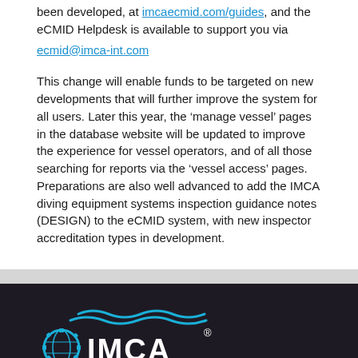been developed, at imcaecmid.com/guides, and the eCMID Helpdesk is available to support you via ecmid@imca-int.com
This change will enable funds to be targeted on new developments that will further improve the system for all users. Later this year, the ‘manage vessel’ pages in the database website will be updated to improve the experience for vessel operators, and of all those searching for reports via the ‘vessel access’ pages. Preparations are also well advanced to add the IMCA diving equipment systems inspection guidance notes (DESIGN) to the eCMID system, with new inspector accreditation types in development.
[Figure (logo): IMCA logo with gear icon and wavy lines above, cyan/blue on dark background]
Subscribe